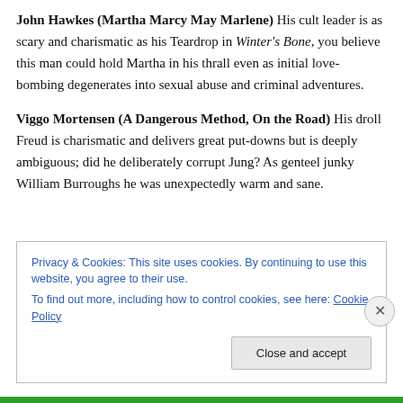John Hawkes (Martha Marcy May Marlene) His cult leader is as scary and charismatic as his Teardrop in Winter's Bone, you believe this man could hold Martha in his thrall even as initial love-bombing degenerates into sexual abuse and criminal adventures.
Viggo Mortensen (A Dangerous Method, On the Road) His droll Freud is charismatic and delivers great put-downs but is deeply ambiguous; did he deliberately corrupt Jung? As genteel junky William Burroughs he was unexpectedly warm and sane.
Privacy & Cookies: This site uses cookies. By continuing to use this website, you agree to their use. To find out more, including how to control cookies, see here: Cookie Policy
Close and accept